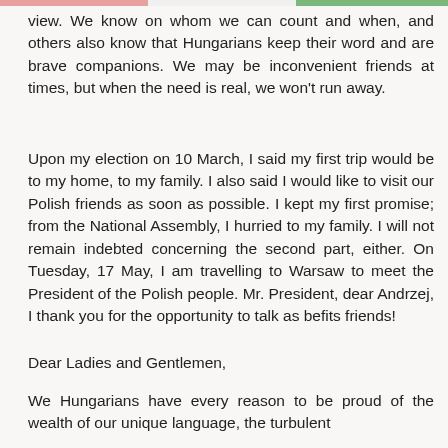view. We know on whom we can count and when, and others also know that Hungarians keep their word and are brave companions. We may be inconvenient friends at times, but when the need is real, we won't run away.
Upon my election on 10 March, I said my first trip would be to my home, to my family. I also said I would like to visit our Polish friends as soon as possible. I kept my first promise; from the National Assembly, I hurried to my family. I will not remain indebted concerning the second part, either. On Tuesday, 17 May, I am travelling to Warsaw to meet the President of the Polish people. Mr. President, dear Andrzej, I thank you for the opportunity to talk as befits friends!
Dear Ladies and Gentlemen,
We Hungarians have every reason to be proud of the wealth of our unique language, the turbulent